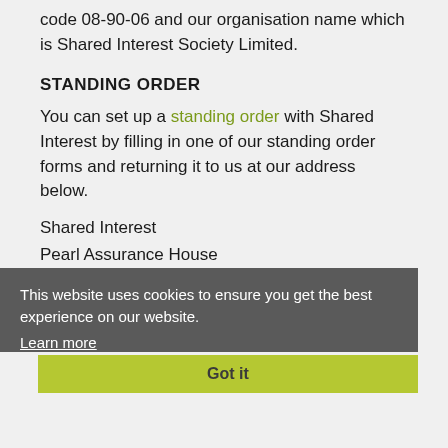account number 70002170 and sort code 08-90-06 and our organisation name which is Shared Interest Society Limited.
STANDING ORDER
You can set up a standing order with Shared Interest by filling in one of our standing order forms and returning it to us at our address below.
Shared Interest
Pearl Assurance House
7 New Bridge Street West
Newcastle upon Tyne
NE1 8AQ
This website uses cookies to ensure you get the best experience on our website.
Learn more
Got it